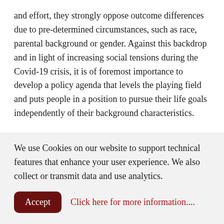and effort, they strongly oppose outcome differences due to pre-determined circumstances, such as race, parental background or gender. Against this backdrop and in light of increasing social tensions during the Covid-19 crisis, it is of foremost importance to develop a policy agenda that levels the playing field and puts people in a position to pursue their life goals independently of their background characteristics.
In this panel debate, Sara Baiocco (EconPol Europe, CEPS), Arnaud Lefranc (CY Cergy Paris Université) and Larissa Zierow (EconPol Europe, ifo Institute) will discuss the role of educational policies throughout the life cycle, from early childhood to adult learning, in such an agenda. Which
We use Cookies on our website to support technical features that enhance your user experience. We also collect or transmit data and use analytics.
Accept   Click here for more information....